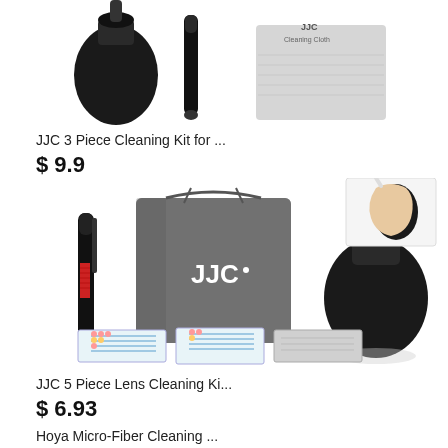[Figure (photo): JJC 3 Piece Cleaning Kit product image showing blower bulb, cleaning pen, and microfiber cloth]
JJC 3 Piece Cleaning Kit for ...
$ 9.9
[Figure (photo): JJC 5 Piece Lens Cleaning Kit product image showing lens pen, grey drawstring bag with JJC logo, air blower bulb, wet wipes packets, and microfiber cloth]
JJC 5 Piece Lens Cleaning Ki...
$ 6.93
Hoya Micro-Fiber Cleaning ...
$ 8.37